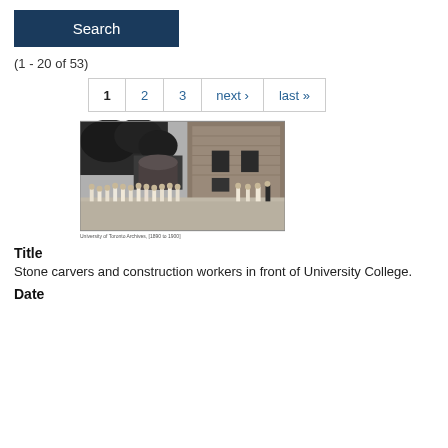Search
(1 - 20 of 53)
1  2  3  next›  last»
[Figure (photo): Black and white historical photograph of stone carvers and construction workers gathered in front of University College building. A large stone institutional building is visible on the right, with trees in the background. A group of workers in light-colored clothing stand in a line in the foreground.]
University of Toronto Archives, [1890 to 1900]
Title
Stone carvers and construction workers in front of University College.
Date